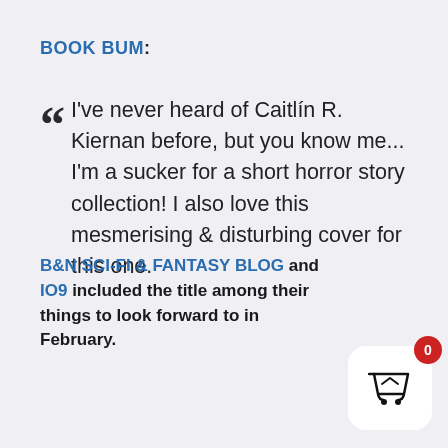BOOK BUM:
I've never heard of Caitlín R. Kiernan before, but you know me... I'm a sucker for a short horror story collection! I also love this mesmerising & disturbing cover for this one.
B&N SCI-FI & FANTASY BLOG and IO9 included the title among their things to look forward to in February.
[Figure (other): Shopping cart button icon with red badge showing 0]